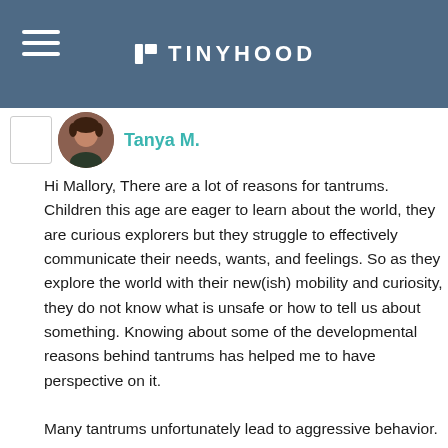TINYHOOD
Tanya M.
Hi Mallory, There are a lot of reasons for tantrums. Children this age are eager to learn about the world, they are curious explorers but they struggle to effectively communicate their needs, wants, and feelings. So as they explore the world with their new(ish) mobility and curiosity, they do not know what is unsafe or how to tell us about something. Knowing about some of the developmental reasons behind tantrums has helped me to have perspective on it.

Many tantrums unfortunately lead to aggressive behavior. As the tantrum progress, the child often becomes